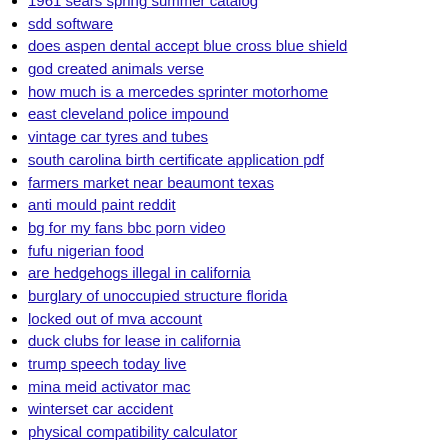1961 sears spring summer catalog
sdd software
does aspen dental accept blue cross blue shield
god created animals verse
how much is a mercedes sprinter motorhome
east cleveland police impound
vintage car tyres and tubes
south carolina birth certificate application pdf
farmers market near beaumont texas
anti mould paint reddit
bg for my fans bbc porn video
fufu nigerian food
are hedgehogs illegal in california
burglary of unoccupied structure florida
locked out of mva account
duck clubs for lease in california
trump speech today live
mina meid activator mac
winterset car accident
physical compatibility calculator
vogue horoscope 5th july 2022
river tay incident today
aberrations 5e language
columbia county ga auction
how will i meet my future husband quiz
second chance lottery nc login